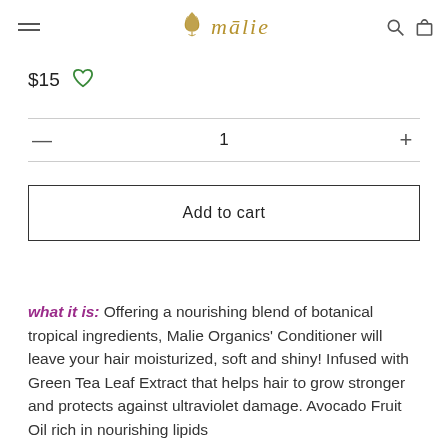mālie
$15
1
Add to cart
what it is: Offering a nourishing blend of botanical tropical ingredients, Malie Organics' Conditioner will leave your hair moisturized, soft and shiny! Infused with Green Tea Leaf Extract that helps hair to grow stronger and protects against ultraviolet damage. Avocado Fruit Oil rich in nourishing lipids...